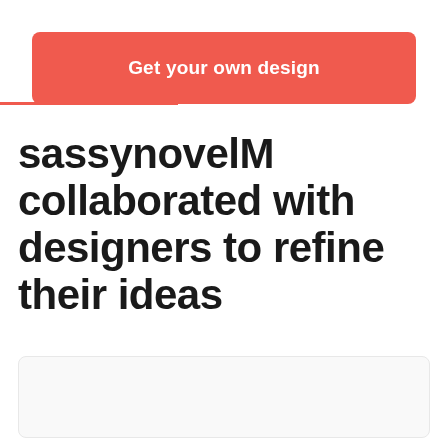Get your own design
sassynovelM collaborated with designers to refine their ideas
[Figure (other): White card/panel area at bottom of page]